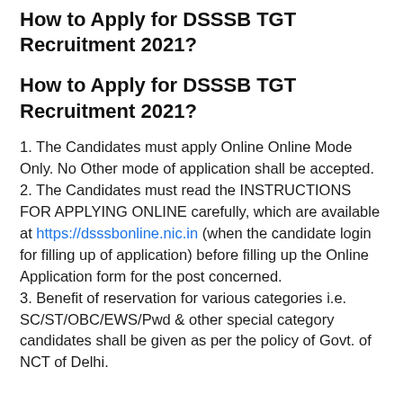How to Apply for DSSSB TGT Recruitment 2021?
How to Apply for DSSSB TGT Recruitment 2021?
1. The Candidates must apply Online Online Mode Only. No Other mode of application shall be accepted.
2. The Candidates must read the INSTRUCTIONS FOR APPLYING ONLINE carefully, which are available at https://dsssbonline.nic.in (when the candidate login for filling up of application) before filling up the Online Application form for the post concerned.
3. Benefit of reservation for various categories i.e. SC/ST/OBC/EWS/Pwd & other special category candidates shall be given as per the policy of Govt. of NCT of Delhi.